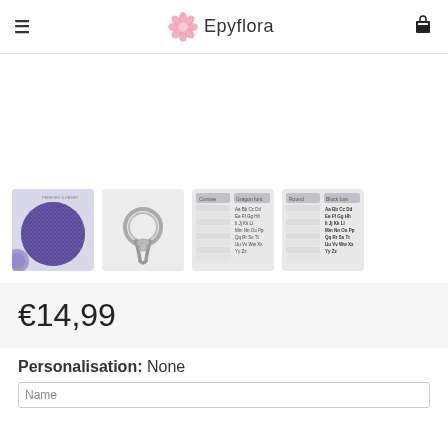Epyflora
[Figure (photo): Four product thumbnail images: a blue glitter circular keychain, a metal keyring clip, a cursive font chart, and a block font chart]
€14,99
Personalisation: None
Name